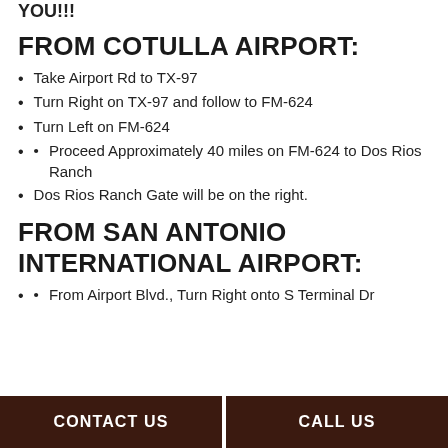YOU!!!
FROM COTULLA AIRPORT:
Take Airport Rd to TX-97
Turn Right on TX-97 and follow to FM-624
Turn Left on FM-624
Proceed Approximately 40 miles on FM-624 to Dos Rios Ranch
Dos Rios Ranch Gate will be on the right.
FROM SAN ANTONIO INTERNATIONAL AIRPORT:
From Airport Blvd., Turn Right onto S Terminal Dr
CONTACT US   CALL US